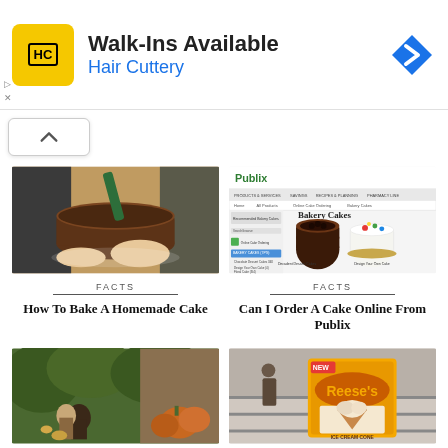[Figure (other): Hair Cuttery advertisement banner with logo, 'Walk-Ins Available' text, blue navigation arrow icon]
[Figure (screenshot): Scroll up button with caret/chevron icon]
[Figure (photo): Person frosting a chocolate cake]
FACTS
How To Bake A Homemade Cake
[Figure (screenshot): Publix website screenshot showing Bakery Cakes ordering page]
FACTS
Can I Order A Cake Online From Publix
[Figure (photo): Outdoor photo of couple in nature]
[Figure (photo): Reese's ice cream cone product in store]